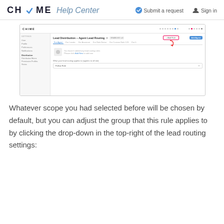CHIME Help Center
[Figure (screenshot): Screenshot of Chime CRM interface showing Lead Distribution - Agent Lead Routing settings page with tabs (For Agent, For Lender, For Assistant, For Role Name, For Custom Role 123, For It), a highlighted drop-down button in the top-right area with a red arrow pointing to it, and a dropdown labeled 'Follow Rule' at the bottom. Left sidebar shows SETTINGS navigation with items including User, Profile, Preferences, Notifications, Distribution subsection with Distribution Matrix, Permission Profiles, Status.]
Whatever scope you had selected before will be chosen by default, but you can adjust the group that this rule applies to by clicking the drop-down in the top-right of the lead routing settings: